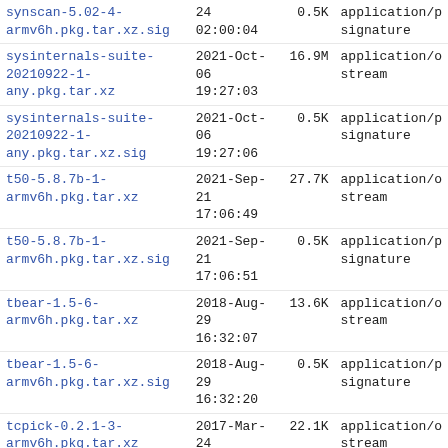| Name | Date | Size | Type |
| --- | --- | --- | --- |
| synscan-5.02-4-armv6h.pkg.tar.xz.sig | 2021-Oct-24 02:00:04 | 0.5K | application/p signature |
| sysinternals-suite-20210922-1-any.pkg.tar.xz | 2021-Oct-06 19:27:03 | 16.9M | application/o stream |
| sysinternals-suite-20210922-1-any.pkg.tar.xz.sig | 2021-Oct-06 19:27:06 | 0.5K | application/p signature |
| t50-5.8.7b-1-armv6h.pkg.tar.xz | 2021-Sep-21 17:06:49 | 27.7K | application/o stream |
| t50-5.8.7b-1-armv6h.pkg.tar.xz.sig | 2021-Sep-21 17:06:51 | 0.5K | application/p signature |
| tbear-1.5-6-armv6h.pkg.tar.xz | 2018-Aug-29 16:32:07 | 13.6K | application/o stream |
| tbear-1.5-6-armv6h.pkg.tar.xz.sig | 2018-Aug-29 16:32:20 | 0.5K | application/p signature |
| tcpick-0.2.1-3-armv6h.pkg.tar.xz | 2017-Mar-24 06:45:10 | 22.1K | application/o stream |
| tcpick-0.2.1-3-armv6h.pkg.tar.xz.sig | 2017-Mar-24 06:45:16 | 0.5K | application/p signature |
| tcptraceroute-1.5beta7-3-armv6h.pkg.tar.xz | 2017-Mar-24 11:30:46 | 31.7K | application/o stream |
| tcptraceroute-1.5beta7-3-armv6h.pkg.tar.xz.sig | 2017-Mar-24 11:30:50 | 0.5K | application/p signature |